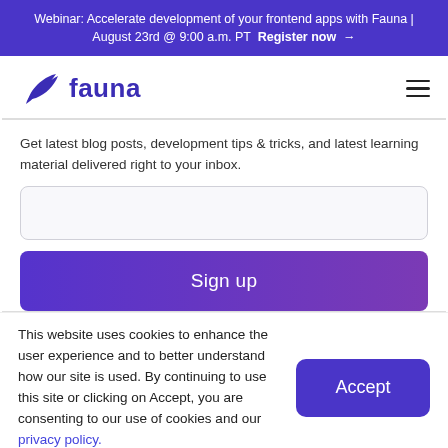Webinar: Accelerate development of your frontend apps with Fauna | August 23rd @ 9:00 a.m. PT  Register now →
[Figure (logo): Fauna logo: purple bird icon and 'fauna' wordmark in purple]
Get latest blog posts, development tips & tricks, and latest learning material delivered right to your inbox.
Sign up
This website uses cookies to enhance the user experience and to better understand how our site is used. By continuing to use this site or clicking on Accept, you are consenting to our use of cookies and our privacy policy.